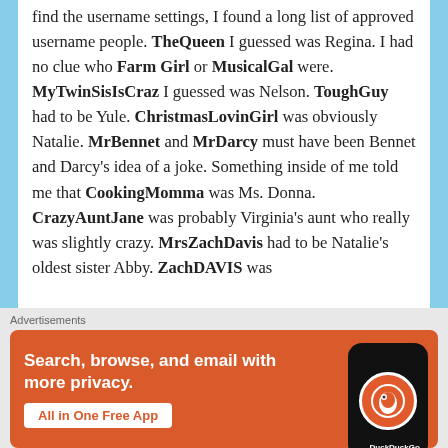find the username settings, I found a long list of approved username people. TheQueen I guessed was Regina. I had no clue who Farm Girl or MusicalGal were. MyTwinSisIsCraz I guessed was Nelson. ToughGuy had to be Yule. ChristmasLovinGirl was obviously Natalie. MrBennet and MrDarcy must have been Bennet and Darcy's idea of a joke. Something inside of me told me that CookingMomma was Ms. Donna. CrazyAuntJane was probably Virginia's aunt who really was slightly crazy. MrsZachDavis had to be Natalie's oldest sister Abby. ZachDAVIS was
[Figure (screenshot): DuckDuckGo advertisement: orange background with white text 'Search, browse, and email with more privacy. All in One Free App' and a phone mockup with DuckDuckGo logo on the right.]